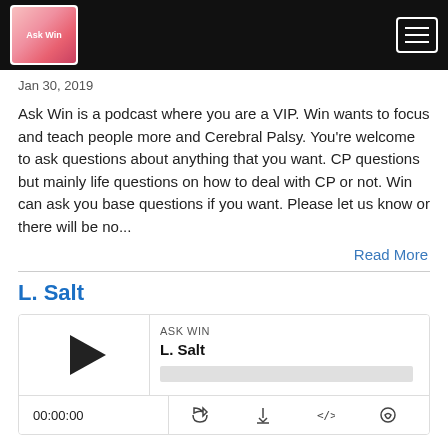[Figure (logo): Ask Win podcast logo with navigation bar, black background, white hamburger menu icon]
Jan 30, 2019
Ask Win is a podcast where you are a VIP. Win wants to focus and teach people more and Cerebral Palsy. You’re welcome to ask questions about anything that you want. CP questions but mainly life questions on how to deal with CP or not. Win can ask you base questions if you want. Please let us know or there will be no...
Read More
L. Salt
[Figure (screenshot): Podcast audio player widget for L. Salt episode, showing play button, episode title, progress bar, timestamp 00:00:00, and control icons]